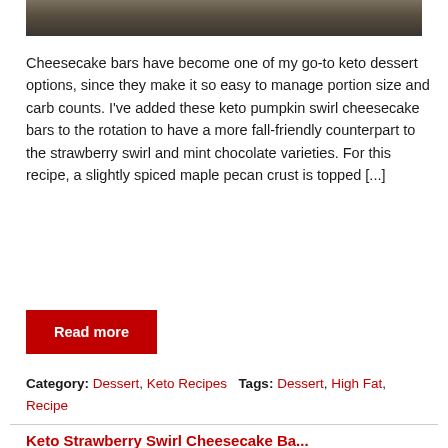[Figure (photo): Partial photo of food (cheesecake bars) on a plate, cropped at top of page]
Cheesecake bars have become one of my go-to keto dessert options, since they make it so easy to manage portion size and carb counts. I've added these keto pumpkin swirl cheesecake bars to the rotation to have a more fall-friendly counterpart to the strawberry swirl and mint chocolate varieties. For this recipe, a slightly spiced maple pecan crust is topped [...]
Read more
Category: Dessert, Keto Recipes   Tags: Dessert, High Fat, Recipe
Keto Strawberry Swirl Cheesecake Bars...